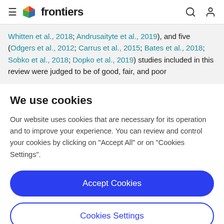frontiers
Whitten et al., 2018; Andrusaityte et al., 2019), and five (Odgers et al., 2012; Carrus et al., 2015; Bates et al., 2018; Sobko et al., 2018; Dopko et al., 2019) studies included in this review were judged to be of good, fair, and poor
We use cookies
Our website uses cookies that are necessary for its operation and to improve your experience. You can review and control your cookies by clicking on "Accept All" or on "Cookies Settings".
Accept Cookies
Cookies Settings